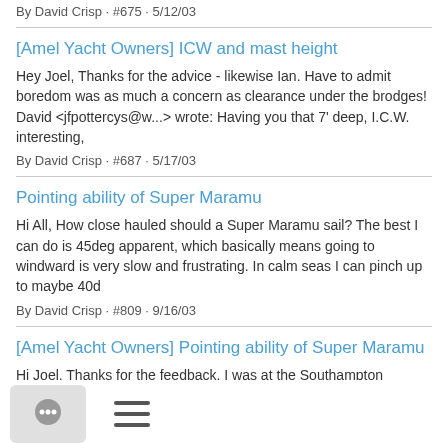By David Crisp · #675 · 5/12/03
[Amel Yacht Owners] ICW and mast height
Hey Joel, Thanks for the advice - likewise Ian. Have to admit boredom was as much a concern as clearance under the brodges! David <jfpottercys@w...> wrote: Having you that 7' deep, I.C.W. interesting,
By David Crisp · #687 · 5/17/03
Pointing ability of Super Maramu
Hi All, How close hauled should a Super Maramu sail? The best I can do is 45deg apparent, which basically means going to windward is very slow and frustrating. In calm seas I can pinch up to maybe 40d
By David Crisp · #809 · 9/16/03
[Amel Yacht Owners] Pointing ability of Super Maramu
Hi Joel, Thanks for the feedback. I was at the Southampton boatshow yesterday and the Amel rep talked of 35deg or even
[Figure (other): Bottom navigation bar with a chat icon button and hamburger menu icon]